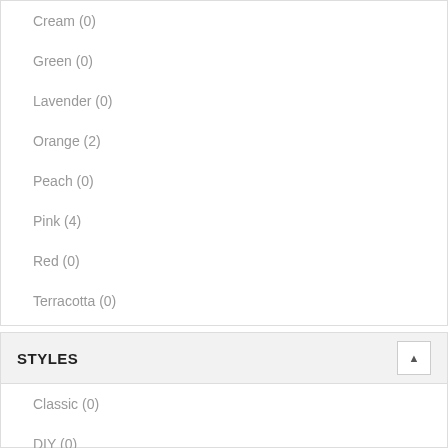Cream (0)
Green (0)
Lavender (0)
Orange (2)
Peach (0)
Pink (4)
Red (0)
Terracotta (0)
White (2)
Yellow (2)
STYLES
Classic (0)
DIY (0)